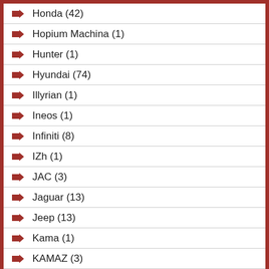Honda (42)
Hopium Machina (1)
Hunter (1)
Hyundai (74)
Illyrian (1)
Ineos (1)
Infiniti (8)
IZh (1)
JAC (3)
Jaguar (13)
Jeep (13)
Kama (1)
KAMAZ (3)
Kia (65)